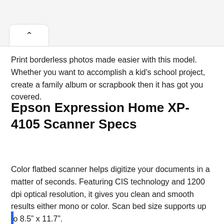Print borderless photos made easier with this model. Whether you want to accomplish a kid’s school project, create a family album or scrapbook then it has got you covered.
Epson Expression Home XP-4105 Scanner Specs
Color flatbed scanner helps digitize your documents in a matter of seconds. Featuring CIS technology and 1200 dpi optical resolution, it gives you clean and smooth results either mono or color. Scan bed size supports up to 8.5” x 11.7”.